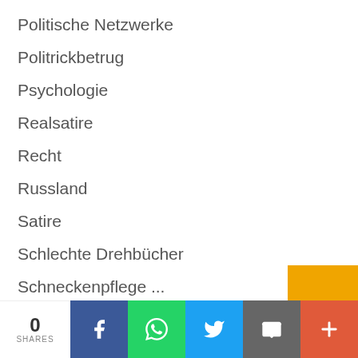Politische Netzwerke
Politrickbetrug
Psychologie
Realsatire
Recht
Russland
Satire
Schlechte Drehbücher
Schneckenpflege ...
Sexualität
Soziale Netzwerke
Staat und Steuern